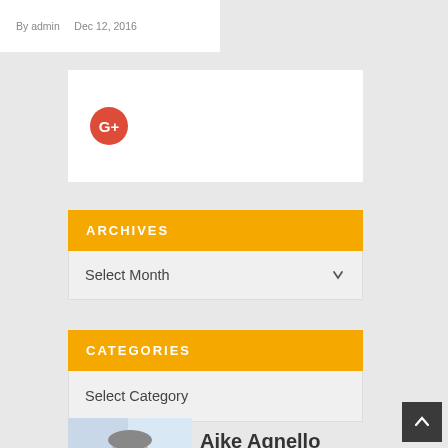By admin    Dec 12, 2016
[Figure (logo): Google+ social share icon (red circle with G+ in white)]
ARCHIVES
Select Month
CATEGORIES
Select Category
[Figure (photo): Professional middle-aged man in white shirt and blue tie, smiling, with laptop]
Aike Agnello